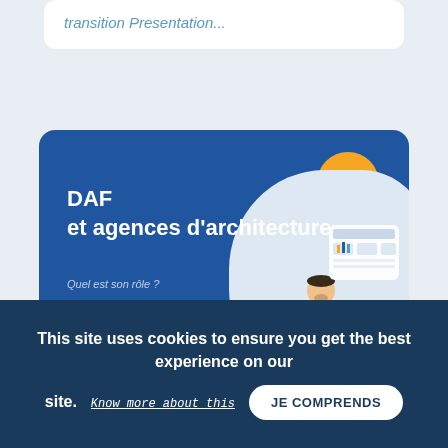transition Presentation...
[Figure (illustration): Blue card with title 'DAF et agences d'architecture', subtitle questions 'Quel est son rôle ?' and 'Comment lui simplifier la vie ?', decorative orange and light blue circles, white blob with illustration of person sitting on bean bag chair with laptop and charts, and URL www.daf.co]
This site uses cookies to ensure you get the best experience on our site.
Know more about this
JE COMPRENDS